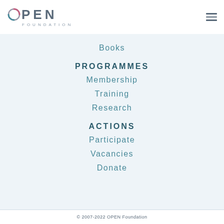[Figure (logo): OPEN Foundation logo with circular O icon and FOUNDATION subtitle]
Books
PROGRAMMES
Membership
Training
Research
ACTIONS
Participate
Vacancies
Donate
© 2007-2022 OPEN Foundation